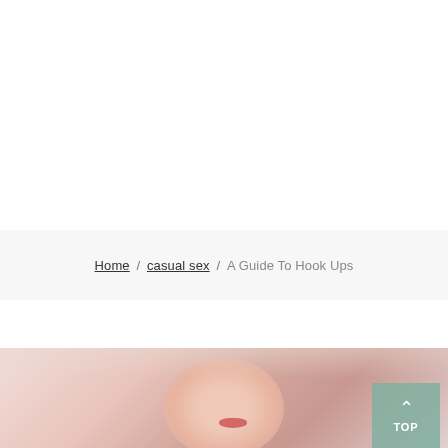Home / casual sex / A Guide To Hook Ups
[Figure (photo): Blurred close-up photo of a woman with red lips and dark hair, partially visible at the bottom of the page]